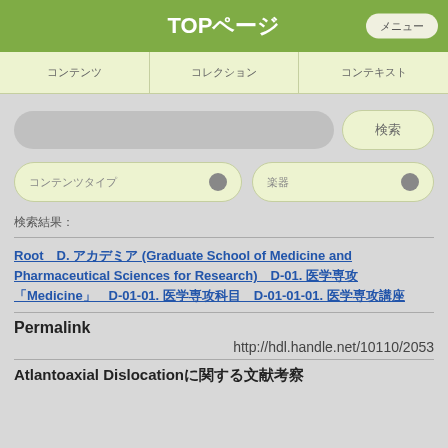TOP
Root　D. 　　　　(Graduate School of Medicine and Pharmaceutical Sciences for Research)　D-01. 　　[Medicine]　D-01-01. 　　　　　　　D-01-01-01.
Permalink
http://hdl.handle.net/10110/2053
Atlantoaxial Dislocation